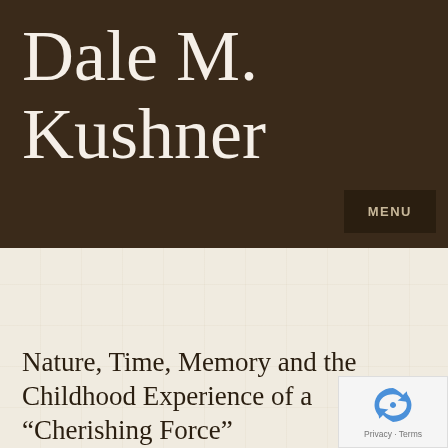Dale M. Kushner
MENU
Nature, Time, Memory and the Childhood Experience of a “Cherishing Force”